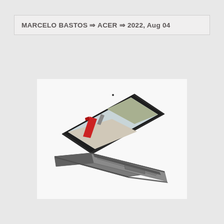MARCELO BASTOS ⇒ ACER ⇒ 2022, Aug 04
[Figure (photo): Acer laptop computer shown in a perspective/isometric view. The laptop is open with its screen displaying an image of a red British telephone box/booth on a street scene. The laptop body is dark grey/silver with a visible keyboard and touchpad.]